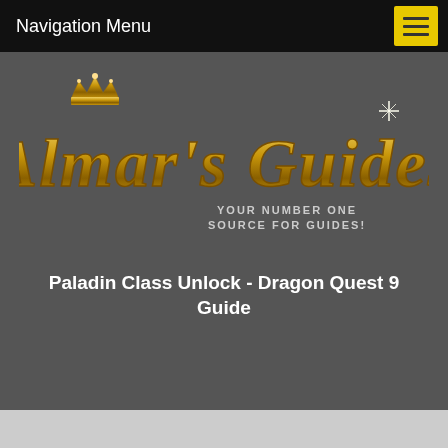Navigation Menu
[Figure (logo): Almar's Guides logo with golden fantasy text and subtitle 'YOUR NUMBER ONE SOURCE FOR GUIDES!']
Paladin Class Unlock - Dragon Quest 9 Guide